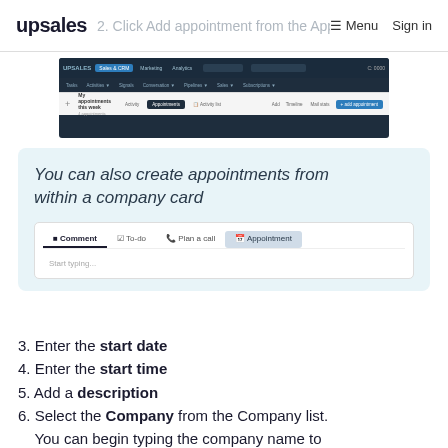upsales | 2. Click Add appointment from the Appointments list. | Menu | Sign in
[Figure (screenshot): Screenshot of the Upsales CRM interface showing the Appointments tab with 'My appointments this week' view and navigation bar]
[Figure (screenshot): Light blue callout box showing 'You can also create appointments from within a company card' with a company card UI mockup showing Comment, To-do, Plan a call, and Appointment tabs]
3. Enter the start date
4. Enter the start time
5. Add a description
6. Select the Company from the Company list. You can begin typing the company name to